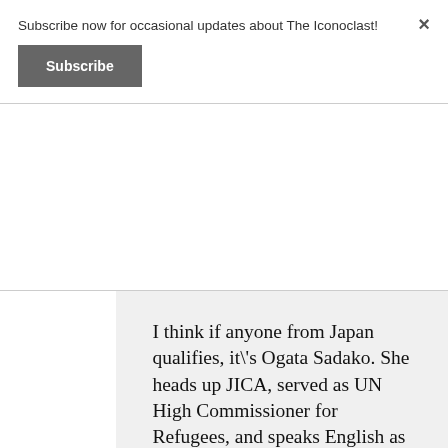Subscribe now for occasional updates about The Iconoclast!
Subscribe
I think if anyone from Japan qualifies, it\'s Ogata Sadako. She heads up JICA, served as UN High Commissioner for Refugees, and speaks English as well as anyone. Her world influence is hard to deny.
Like